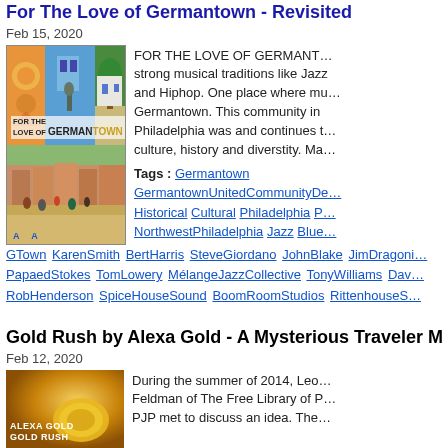For The Love of Germantown - Revisited
Feb 15, 2020
[Figure (photo): Collage image for 'For The Love of Germantown' showing colorful mural art, historic buildings, a statue, and street scenes]
FOR THE LOVE OF GERMANTOWN... strong musical traditions like Jazz and Hiphop. One place where mu... Germantown. This community in Philadelphia was and continues to... culture, history and diverstity. Ma...
Tags : Germantown GermantownUnitedCommunityDe... Historical Cultural Philadelphia P... NorthwestPhiladelphia Jazz Blue...
GTown KarenSmith BertHarris SteveGiordano JohnBlake JimDragoni... PapaedStokes TomLowery MélangeJazzCollective TonyWilliams Dav... RobHenderson SpiceHouseSound BoomRoomStudios RittenhouseS...
Gold Rush by Alexa Gold - A Mysterious Traveler M...
Feb 12, 2020
[Figure (photo): Book cover for 'Alexa Gold - Gold Rush' showing golden circular object on orange/gold background]
During the summer of 2014, Leo... Feldman of The Free Library of P... PJP met to discuss an idea. The...